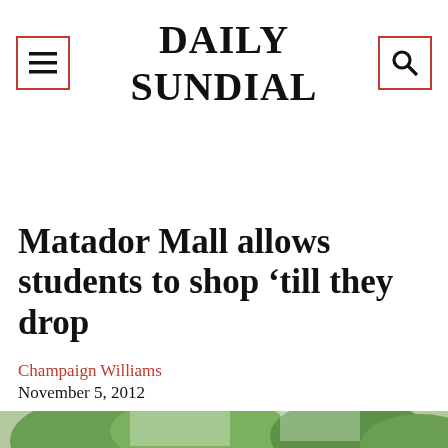DAILY SUNDIAL
Matador Mall allows students to shop ‘till they drop
Champaign Williams
November 5, 2012
[Figure (photo): Photo of a person at an outdoor market or mall event, trees visible in background]